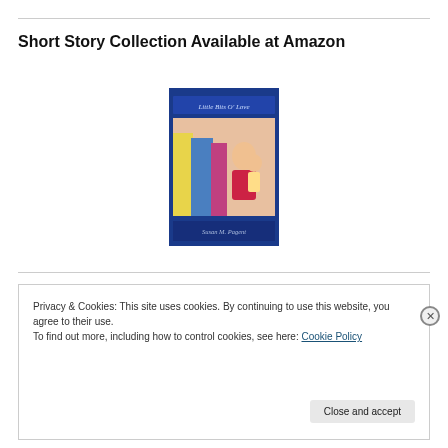Short Story Collection Available at Amazon
[Figure (photo): Book cover of 'Little Bits O' Love' by Susan M. Pagent, blue cover with image of a woman and child]
Privacy & Cookies: This site uses cookies. By continuing to use this website, you agree to their use.
To find out more, including how to control cookies, see here: Cookie Policy
Close and accept